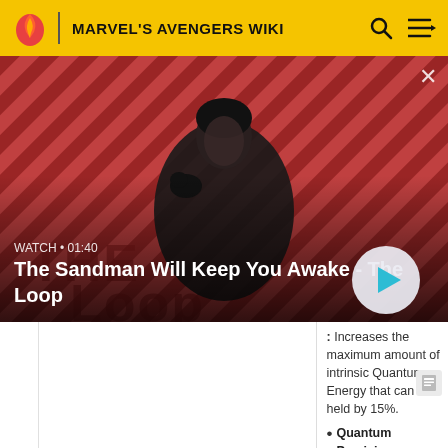MARVEL'S AVENGERS WIKI
[Figure (screenshot): Video thumbnail showing a man in dark clothing with a crow on his shoulder against a red diagonal striped background. Text overlay: WATCH • 01:40. Title: The Sandman Will Keep You Awake - The Loop. Play button visible.]
: Increases the maximum amount of intrinsic Quantum Energy that can be held by 15%.
Quantum Precision: Increases the Critical